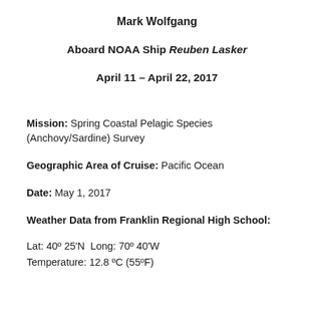Mark Wolfgang
Aboard NOAA Ship Reuben Lasker
April 11 – April 22, 2017
Mission: Spring Coastal Pelagic Species (Anchovy/Sardine) Survey
Geographic Area of Cruise: Pacific Ocean
Date: May 1, 2017
Weather Data from Franklin Regional High School:
Lat: 40º 25'N  Long: 70º 40'W
Temperature: 12.8 ºC (55ºF)